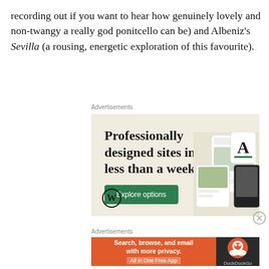recording out if you want to hear how genuinely lovely and non-twangy a really god ponitcello can be) and Albeniz's Sevilla (a rousing, energetic exploration of this favourite).
Advertisements
[Figure (illustration): WordPress advertisement: 'Professionally designed sites in less than a week' with Explore options button, WordPress logo, and screenshot mockups of websites on the right side. Beige/cream background.]
[Figure (other): Close/dismiss button (circled X) on the right side of the advertisement.]
Advertisements
[Figure (illustration): DuckDuckGo advertisement: 'Search, browse, and email with more privacy. All in One Free App' on orange background, with DuckDuckGo logo and duck icon on dark background on the right.]